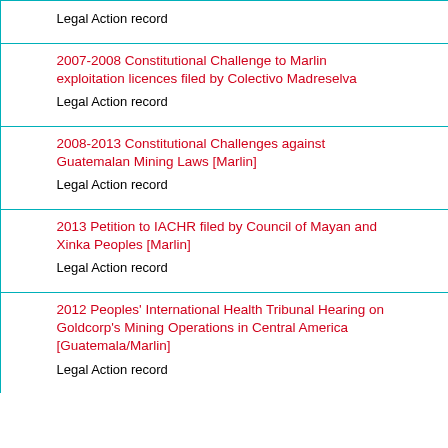| Legal Action record |
| 2007-2008 Constitutional Challenge to Marlin exploitation licences filed by Colectivo Madreselva
Legal Action record |
| 2008-2013 Constitutional Challenges against Guatemalan Mining Laws [Marlin]
Legal Action record |
| 2013 Petition to IACHR filed by Council of Mayan and Xinka Peoples [Marlin]
Legal Action record |
| 2012 Peoples' International Health Tribunal Hearing on Goldcorp's Mining Operations in Central America [Guatemala/Marlin]
Legal Action record |